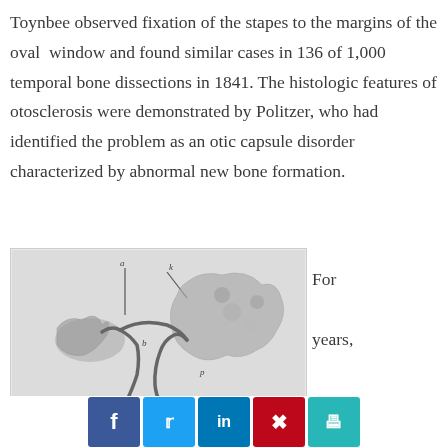Toynbee observed fixation of the stapes to the margins of the oval window and found similar cases in 136 of 1,000 temporal bone dissections in 1841. The histologic features of otosclerosis were demonstrated by Politzer, who had identified the problem as an otic capsule disorder characterized by abnormal new bone formation.
[Figure (illustration): Histological illustration of stapes bone cross-section showing abnormal bone formation characteristic of otosclerosis, with labeled markers (a, k, b, p, sl)]
For years,